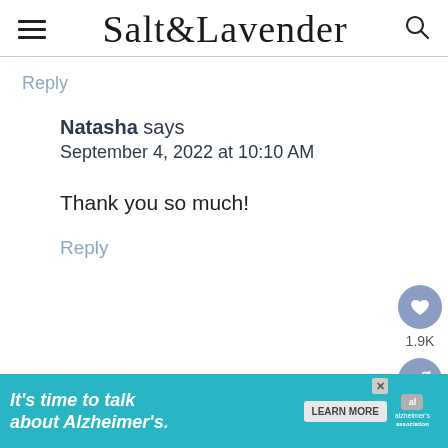Salt & Lavender
Reply
Natasha says
September 4, 2022 at 10:10 AM
Thank you so much!
Reply
[Figure (infographic): Social sidebar with heart/like button showing 1.9K and a share button, both circular purple/blue buttons on the right side]
[Figure (infographic): Advertisement banner: teal background with text 'It's time to talk about Alzheimer's.' with LEARN MORE button and Alzheimer's association logo]